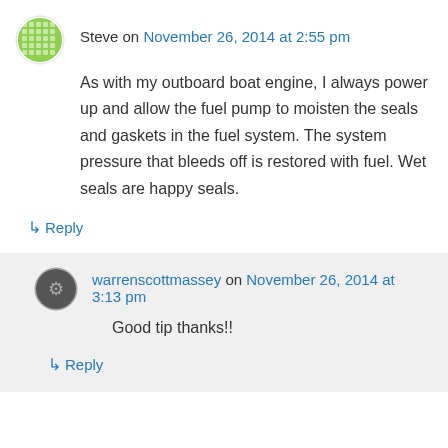Steve on November 26, 2014 at 2:55 pm
As with my outboard boat engine, I always power up and allow the fuel pump to moisten the seals and gaskets in the fuel system. The system pressure that bleeds off is restored with fuel. Wet seals are happy seals.
↳ Reply
warrenscottmassey on November 26, 2014 at 3:13 pm
Good tip thanks!!
↳ Reply